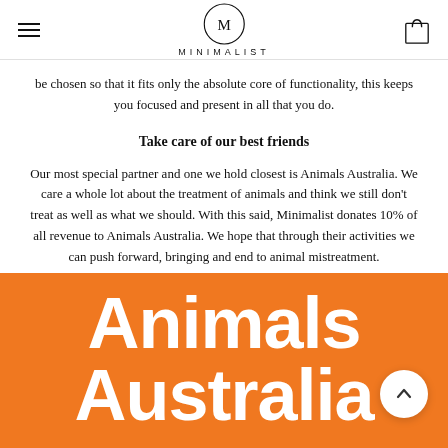MINIMALIST
be chosen so that it fits only the absolute core of functionality, this keeps you focused and present in all that you do.
Take care of our best friends
Our most special partner and one we hold closest is Animals Australia. We care a whole lot about the treatment of animals and think we still don't treat as well as what we should. With this said, Minimalist donates 10% of all revenue to Animals Australia. We hope that through their activities we can push forward, bringing and end to animal mistreatment.
[Figure (logo): Animals Australia logo: white bold text 'Animals Australia' on orange background]